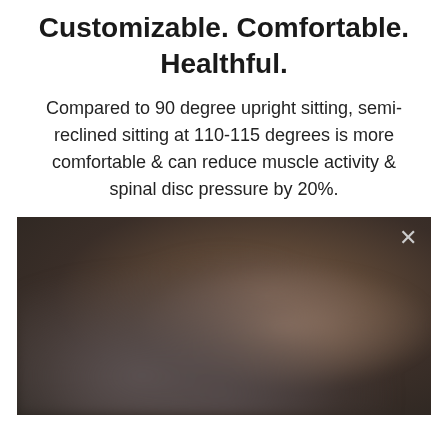Customizable. Comfortable. Healthful.
Compared to 90 degree upright sitting, semi-reclined sitting at 110-115 degrees is more comfortable & can reduce muscle activity & spinal disc pressure by 20%.
[Figure (photo): A dark, blurred photo of a person in a reclined chair or seating position, with a close/dismiss (×) button in the top-right corner.]